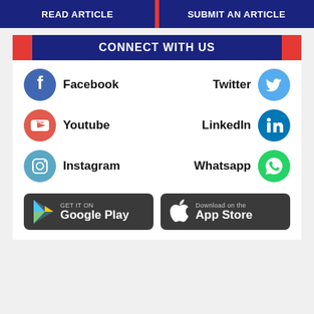READ ARTICLE | SUBMIT AN ARTICLE
CONNECT WITH US
Facebook
Twitter
Youtube
LinkedIn
Instagram
Whatsapp
[Figure (infographic): Google Play and App Store download buttons]
GET IT ON Google Play | Download on the App Store